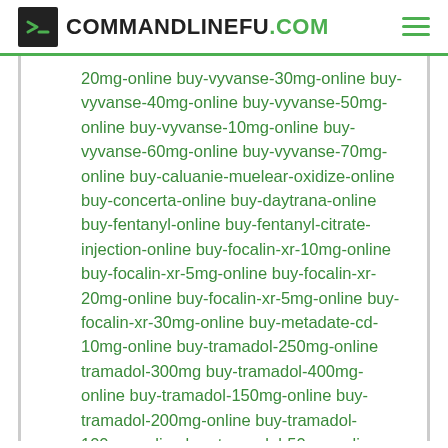COMMANDLINEFU.COM
20mg-online buy-vyvanse-30mg-online buy-vyvanse-40mg-online buy-vyvanse-50mg-online buy-vyvanse-10mg-online buy-vyvanse-60mg-online buy-vyvanse-70mg-online buy-caluanie-muelear-oxidize-online buy-concerta-online buy-daytrana-online buy-fentanyl-online buy-fentanyl-citrate-injection-online buy-focalin-xr-10mg-online buy-focalin-xr-5mg-online buy-focalin-xr-20mg-online buy-focalin-xr-5mg-online buy-focalin-xr-30mg-online buy-metadate-cd-10mg-online buy-tramadol-250mg-online tramadol-300mg buy-tramadol-400mg-online buy-tramadol-150mg-online buy-tramadol-200mg-online buy-tramadol-100mg-online buy-tramadol-50mg-online buy-vyvanse-30mg-online buy-adderall-xr-25mg-online buy-adderall-30mg-xr-online buy-fentanyl-online buy-fentanyl-citrate-injection-online buy-hydrocodone-online buy-suboxone-online buy-percocet-online